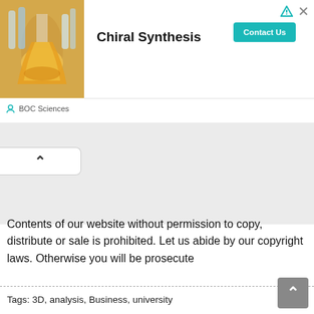[Figure (screenshot): Advertisement banner for BOC Sciences Chiral Synthesis service, showing lab glassware image on the left, bold text 'Chiral Synthesis' in center, teal 'Contact Us' button on right, and 'BOC Sciences' source label at bottom.]
[Figure (other): Collapse/hide tab with upward chevron arrow indicating a collapsible section.]
Contents of our website without permission to copy, distribute or sale is prohibited. Let us abide by our copyright laws. Otherwise you will be prosecute
Tags: 3D, analysis, Business, university